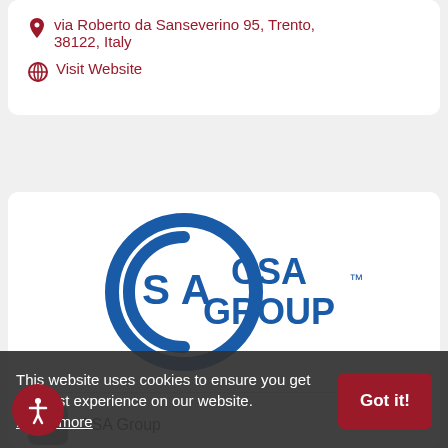via Roberto da Sanseverino 95, Trento, 38122, Italy
Visit Website
[Figure (logo): CSA Group logo — blue circular CSA emblem with 'CSA GROUP' text to the right]
CSA Group
Toronto, ON M4W, Canada
Visit Website
This website uses cookies to ensure you get the best experience on our website. Learn more